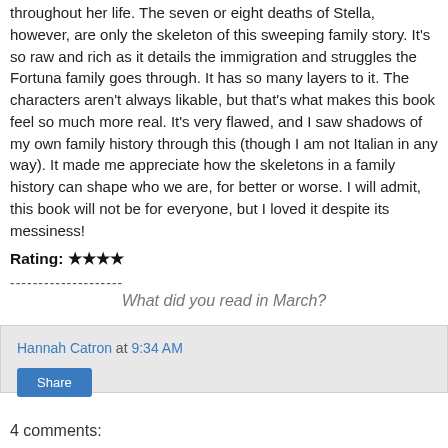throughout her life. The seven or eight deaths of Stella, however, are only the skeleton of this sweeping family story. It's so raw and rich as it details the immigration and struggles the Fortuna family goes through. It has so many layers to it. The characters aren't always likable, but that's what makes this book feel so much more real. It's very flawed, and I saw shadows of my own family history through this (though I am not Italian in any way). It made me appreciate how the skeletons in a family history can shape who we are, for better or worse. I will admit, this book will not be for everyone, but I loved it despite its messiness!
Rating: ★★★★
--------------------
What did you read in March?
Hannah Catron at 9:34 AM
Share
4 comments: